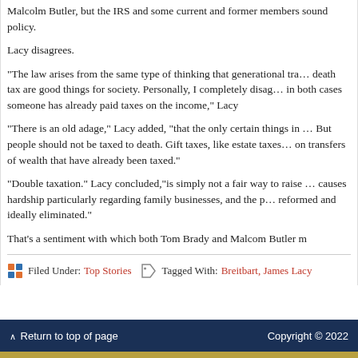Malcolm Butler, but the IRS and some current and former members sound policy.
Lacy disagrees.
“The law arises from the same type of thinking that generational transfer and death tax are good things for society. Personally, I completely disagree, as in both cases someone has already paid taxes on the income,” Lacy
“There is an old adage,” Lacy added, “that the only certain things in life are death and taxes. But people should not be taxed to death. Gift taxes, like estate taxes, are taxes on transfers of wealth that have already been taxed.”
“Double taxation.” Lacy concluded,“is simply not a fair way to raise government revenue, causes hardship particularly regarding family businesses, and the policy should be reformed and ideally eliminated.”
That’s a sentiment with which both Tom Brady and Malcom Butler m
Filed Under: Top Stories   Tagged With: Breitbart, James Lacy
∧ Return to top of page   Copyright © 2022